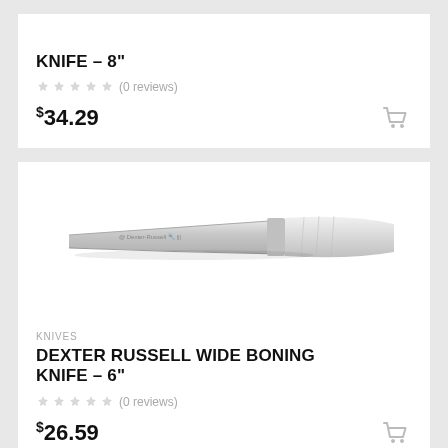KNIFE – 8"
(0 reviews)
$34.29
[Figure (photo): Photo of a Dexter Russell wide boning knife with white handle and silver blade against white background]
KNIVES
DEXTER RUSSELL WIDE BONING KNIFE – 6"
(0 reviews)
$26.59